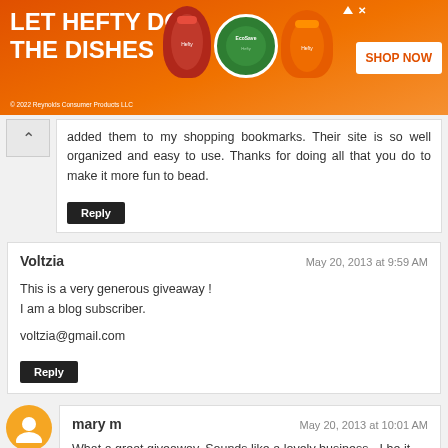[Figure (infographic): Hefty dish soap advertisement banner with orange background, product images, and SHOP NOW button. Text: LET HEFTY DO THE DISHES. Copyright 2022 Reynolds Consumer Products LLC]
added them to my shopping bookmarks. Their site is so well organized and easy to use. Thanks for doing all that you do to make it more fun to bead.
Reply
Voltzia
May 20, 2013 at 9:59 AM
This is a very generous giveaway !
I am a blog subscriber.

voltzia@gmail.com
Reply
mary m
May 20, 2013 at 10:01 AM
What a great giveaway. Sounds like a lovely business - I he it continues to thrive xxxx
Jandmmarshall (at) aol (dot) com